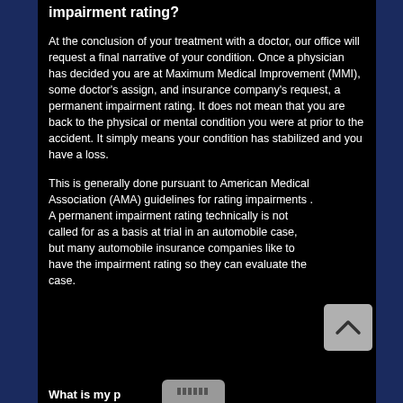impairment rating?
At the conclusion of your treatment with a doctor, our office will request a final narrative of your condition. Once a physician has decided you are at Maximum Medical Improvement (MMI), some doctor's assign, and insurance company's request, a permanent impairment rating. It does not mean that you are back to the physical or mental condition you were at prior to the accident. It simply means your condition has stabilized and you have a loss.
This is generally done pursuant to American Medical Association (AMA) guidelines for rating impairments . A permanent impairment rating technically is not called for as a basis at trial in an automobile case, but many automobile insurance companies like to have the impairment rating so they can evaluate the case.
What is my p...